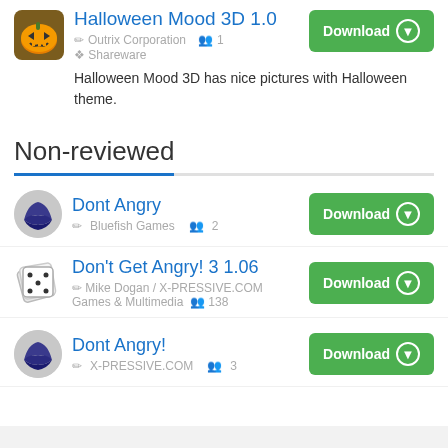Halloween Mood 3D 1.0
Outrix Corporation  1
Shareware
Halloween Mood 3D has nice pictures with Halloween theme.
Non-reviewed
Dont Angry
Bluefish Games  2
Don't Get Angry! 3 1.06
Mike Dogan / X-PRESSIVE.COM
Games & Multimedia  138
Dont Angry!
X-PRESSIVE.COM  3